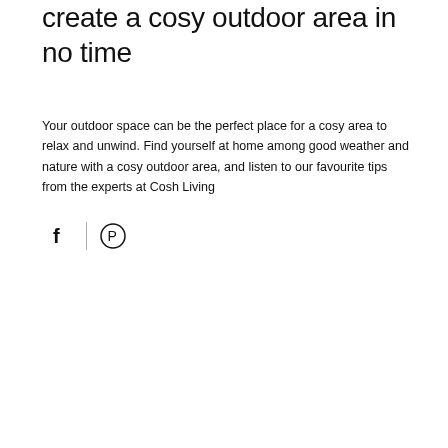create a cosy outdoor area in no time
Your outdoor space can be the perfect place for a cosy area to relax and unwind. Find yourself at home among good weather and nature with a cosy outdoor area, and listen to our favourite tips from the experts at Cosh Living
[Figure (other): Social sharing icons: Facebook (f) and Pinterest (circle with P) separated by a vertical divider line]